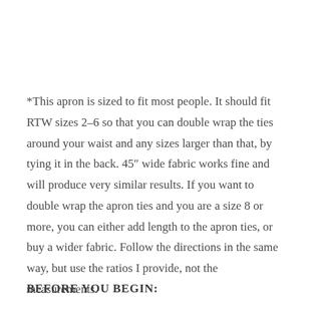*This apron is sized to fit most people. It should fit RTW sizes 2–6 so that you can double wrap the ties around your waist and any sizes larger than that, by tying it in the back. 45" wide fabric works fine and will produce very similar results. If you want to double wrap the apron ties and you are a size 8 or more, you can either add length to the apron ties, or buy a wider fabric. Follow the directions in the same way, but use the ratios I provide, not the measurements.
BEFORE YOU BEGIN: